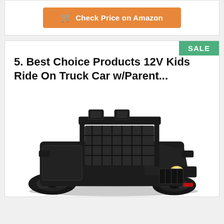Check Price on Amazon
5. Best Choice Products 12V Kids Ride On Truck Car w/Parent...
[Figure (photo): Black kids electric ride-on truck/jeep toy with roof lights, roll cage, and headlights, viewed from front-right angle]